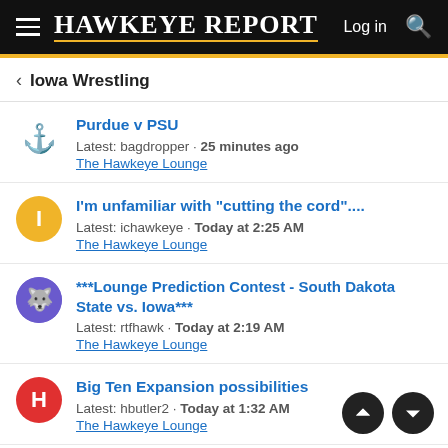Hawkeye Report | Log in
< Iowa Wrestling
Purdue v PSU
Latest: bagdropper · 25 minutes ago
The Hawkeye Lounge
I'm unfamiliar with "cutting the cord"....
Latest: ichawkeye · Today at 2:25 AM
The Hawkeye Lounge
***Lounge Prediction Contest - South Dakota State vs. Iowa***
Latest: rtfhawk · Today at 2:19 AM
The Hawkeye Lounge
Big Ten Expansion possibilities
Latest: hbutler2 · Today at 1:32 AM
The Hawkeye Lounge